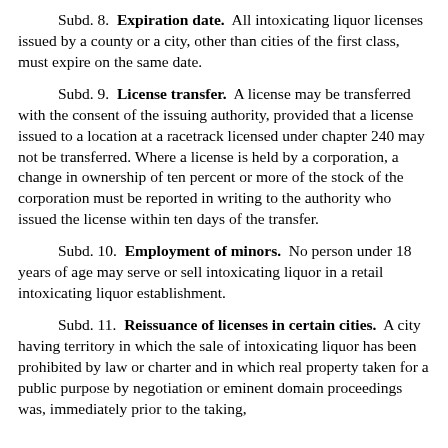Subd. 8. Expiration date. All intoxicating liquor licenses issued by a county or a city, other than cities of the first class, must expire on the same date.
Subd. 9. License transfer. A license may be transferred with the consent of the issuing authority, provided that a license issued to a location at a racetrack licensed under chapter 240 may not be transferred. Where a license is held by a corporation, a change in ownership of ten percent or more of the stock of the corporation must be reported in writing to the authority who issued the license within ten days of the transfer.
Subd. 10. Employment of minors. No person under 18 years of age may serve or sell intoxicating liquor in a retail intoxicating liquor establishment.
Subd. 11. Reissuance of licenses in certain cities. A city having territory in which the sale of intoxicating liquor has been prohibited by law or charter and in which real property taken for a public purpose by negotiation or eminent domain proceedings was, immediately prior to the taking, actually used by a licensee for the sale of intoxicating liquor,